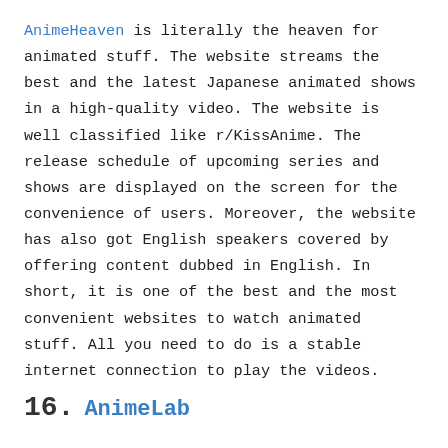AnimeHeaven is literally the heaven for animated stuff. The website streams the best and the latest Japanese animated shows in a high-quality video. The website is well classified like r/KissAnime. The release schedule of upcoming series and shows are displayed on the screen for the convenience of users. Moreover, the website has also got English speakers covered by offering content dubbed in English. In short, it is one of the best and the most convenient websites to watch animated stuff. All you need to do is a stable internet connection to play the videos.
16.  AnimeLab